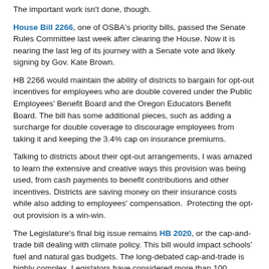The important work isn't done, though.
House Bill 2266, one of OSBA's priority bills, passed the Senate Rules Committee last week after clearing the House. Now it is nearing the last leg of its journey with a Senate vote and likely signing by Gov. Kate Brown.
HB 2266 would maintain the ability of districts to bargain for opt-out incentives for employees who are double covered under the Public Employees' Benefit Board and the Oregon Educators Benefit Board. The bill has some additional pieces, such as adding a surcharge for double coverage to discourage employees from taking it and keeping the 3.4% cap on insurance premiums.
Talking to districts about their opt-out arrangements, I was amazed to learn the extensive and creative ways this provision was being used, from cash payments to benefit contributions and other incentives. Districts are saving money on their insurance costs while also adding to employees' compensation. Protecting the opt-out provision is a win-win.
The Legislature's final big issue remains HB 2020, or the cap-and-trade bill dealing with climate policy. This bill would impact schools' fuel and natural gas budgets. The long-debated cap-and-trade is highly complex. Legislators have considered more than 100 amendments to a bill that is 100 pages long.
With the session nearly over, we expect to have one or two more Legislative Highlights to help keep you informed. Upon adjournment, OSBA and the Confederation of Oregon School Administrators will put out a joint summary and full report of all tracked bills that passed. We